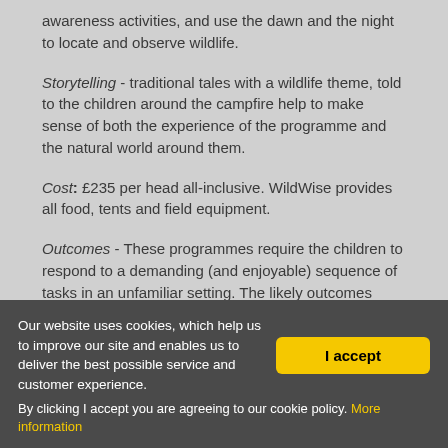awareness activities, and use the dawn and the night to locate and observe wildlife.
Storytelling - traditional tales with a wildlife theme, told to the children around the campfire help to make sense of both the experience of the programme and the natural world around them.
Cost: £235 per head all-inclusive. WildWise provides all food, tents and field equipment.
Outcomes - These programmes require the children to respond to a demanding (and enjoyable) sequence of tasks in an unfamiliar setting. The likely outcomes from participating in such a dynamic interaction with the natural world are an increased enthusiasm, energy and motivation. Most importantly of all, the course is designed to give the
Our website uses cookies, which help us to improve our site and enables us to deliver the best possible service and customer experience.
By clicking I accept you are agreeing to our cookie policy. More information
I accept